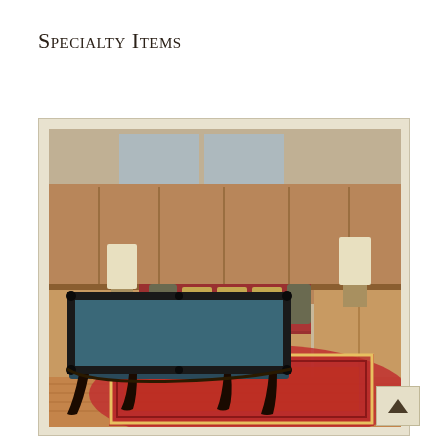Specialty Items
[Figure (photo): A billiards room featuring a dark ornate pool table with blue felt on a large red Persian rug, wood-paneled walls with built-in storage benches with decorative pillows in red and gold, and two table lamps. The floor is hardwood.]
[Figure (other): Navigation arrow button pointing upward]